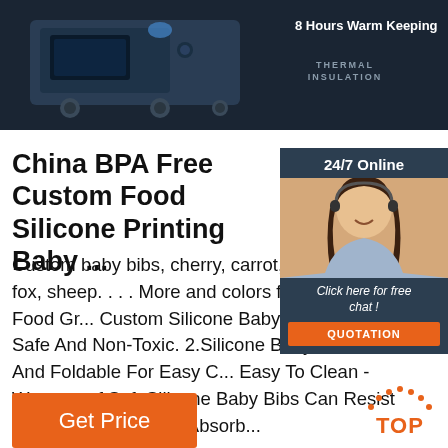[Figure (photo): Product image showing a machine with thermal insulation, dark background. Text overlay: '8 Hours Warm Keeping' and 'THERMAL INSULATION']
China BPA Free Custom Food Silicone Printing Baby ...
[Figure (photo): Customer service widget with '24/7 Online' header, photo of a woman with headset, 'Click here for free chat!' text, and QUOTATION button]
Custom baby bibs, cherry, carrot, chrysanthemum, fox, sheep. . . . More and colors for your choice. 1. Food Gr... Custom Silicone Baby Bib With Food Safe And Non-Toxic. 2.Silicone Baby Bibs Are Soft And Foldable For Easy C... Easy To Clean -Waterproof Soft Silicone Baby Bibs Can Resist Stains And Does Not Absorb...
[Figure (other): TOP scroll-to-top button with decorative dots arc and orange TOP text]
Get Price